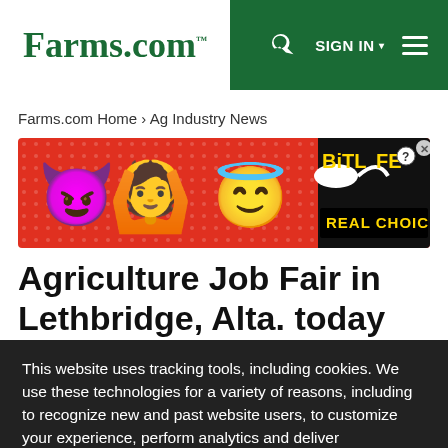Farms.com™   SIGN IN ▾  ☰
Farms.com Home › Ag Industry News
[Figure (illustration): BitLife advertisement banner with emoji characters and text 'REAL CHOICES']
Agriculture Job Fair in Lethbridge, Alta. today
This website uses tracking tools, including cookies. We use these technologies for a variety of reasons, including to recognize new and past website users, to customize your experience, perform analytics and deliver personalized advertising on our sites, apps and newsletters and across the Internet based on your interests. You agree to our Privacy Policy and Terms of Access by clicking I agree.